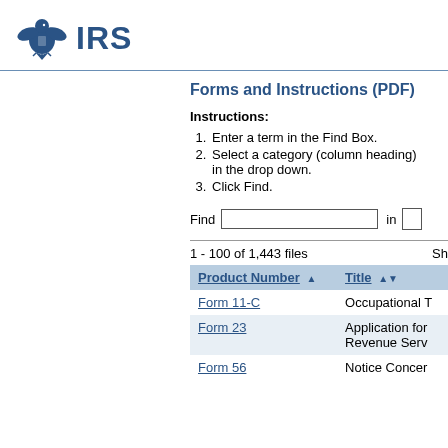[Figure (logo): IRS eagle seal logo in blue with the text IRS in bold blue letters]
Forms and Instructions (PDF)
Instructions:
Enter a term in the Find Box.
Select a category (column heading) in the drop down.
Click Find.
| Product Number | Title |
| --- | --- |
| Form 11-C | Occupational T... |
| Form 23 | Application for Revenue Serv... |
| Form 56 | Notice Concer... |